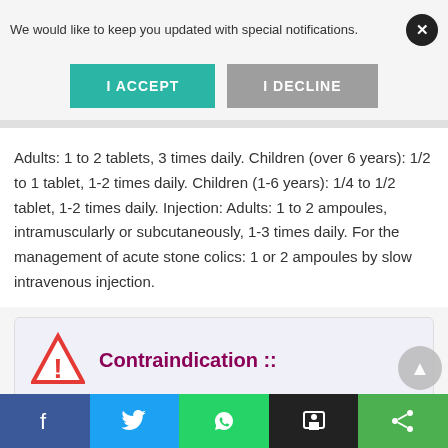We would like to keep you updated with special notifications.
I ACCEPT
I DECLINE
Adults: 1 to 2 tablets, 3 times daily. Children (over 6 years): 1/2 to 1 tablet, 1-2 times daily. Children (1-6 years): 1/4 to 1/2 tablet, 1-2 times daily. Injection: Adults: 1 to 2 ampoules, intramuscularly or subcutaneously, 1-3 times daily. For the management of acute stone colics: 1 or 2 ampoules by slow intravenous injection.
Contraindication ::